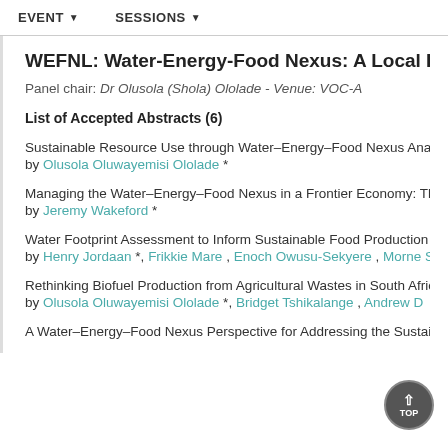EVENT   SESSIONS
WEFNL: Water-Energy-Food Nexus: A Local Pers…
Panel chair: Dr Olusola (Shola) Ololade - Venue: VOC-A
List of Accepted Abstracts (6)
Sustainable Resource Use through Water–Energy–Food Nexus Analys… by Olusola Oluwayemisi Ololade *
Managing the Water–Energy–Food Nexus in a Frontier Economy: The… by Jeremy Wakeford *
Water Footprint Assessment to Inform Sustainable Food Production… by Henry Jordaan *, Frikkie Mare , Enoch Owusu-Sekyere , Morne S…
Rethinking Biofuel Production from Agricultural Wastes in South Afric… by Olusola Oluwayemisi Ololade *, Bridget Tshikalange , Andrew D…
A Water–Energy–Food Nexus Perspective for Addressing the Sustaina…